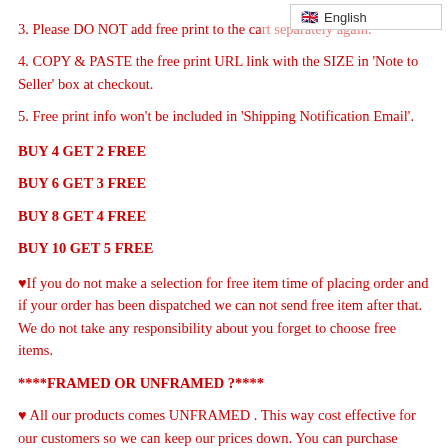3. Please DO NOT add free print to the cart separately again.
4. COPY & PASTE the free print URL link with the SIZE in 'Note to Seller' box at checkout.
5. Free print info won't be included in 'Shipping Notification Email'.
BUY 4 GET 2 FREE
BUY 6 GET 3 FREE
BUY 8 GET 4 FREE
BUY 10 GET 5 FREE
♥If you do not make a selection for free item time of placing order and if your order has been dispatched we can not send free item after that. We do not take any responsibility about you forget to choose free items.
****FRAMED OR UNFRAMED ?****
♥ All our products comes UNFRAMED . This way cost effective for our customers so we can keep our prices down. You can purchase frames online